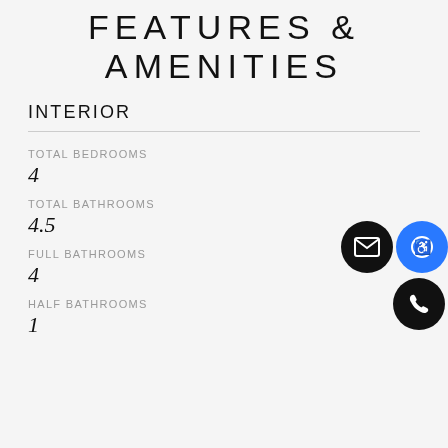FEATURES & AMENITIES
INTERIOR
TOTAL BEDROOMS
4
TOTAL BATHROOMS
4.5
FULL BATHROOMS
4
HALF BATHROOMS
1